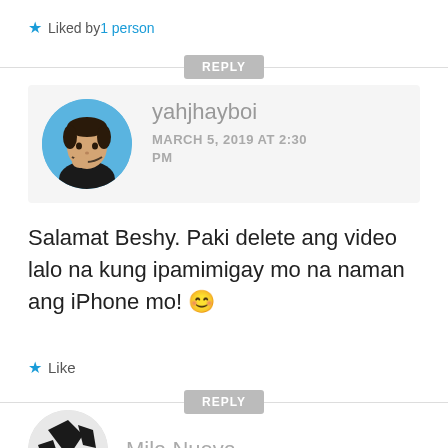★ Liked by 1 person
REPLY
[Figure (illustration): Avatar of yahjhayboi: illustrated portrait of a man in black jacket on blue circle background]
yahjhayboi
MARCH 5, 2019 AT 2:30 PM
Salamat Beshy. Paki delete ang video lalo na kung ipamimigay mo na naman ang iPhone mo! 😊
★ Like
REPLY
[Figure (illustration): Avatar of Mila Nueva: black and white illustrated portrait]
Mila Nueva